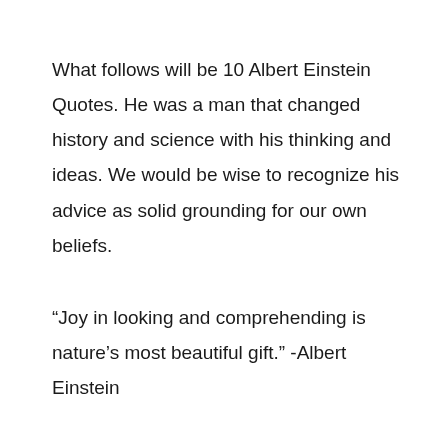What follows will be 10 Albert Einstein Quotes. He was a man that changed history and science with his thinking and ideas. We would be wise to recognize his advice as solid grounding for our own beliefs.
“Joy in looking and comprehending is nature’s most beautiful gift.” -Albert Einstein